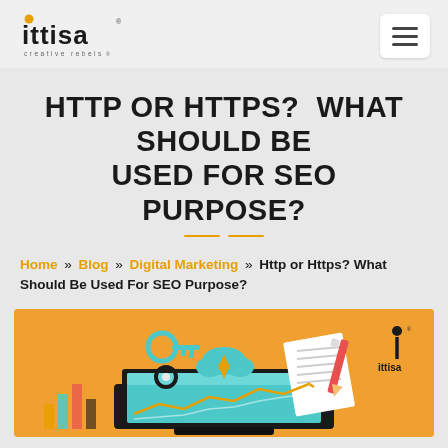ittisa creative rebels [logo] [hamburger menu]
HTTP OR HTTPS? WHAT SHOULD BE USED FOR SEO PURPOSE?
Home » Blog » Digital Marketing » Http or Https? What Should Be Used For SEO Purpose?
[Figure (illustration): Orange background illustration showing a tablet/laptop device with digital marketing icons: a key, gear, cloud with arrows, papers, and a pencil. Ittisa logo watermark in top right corner.]